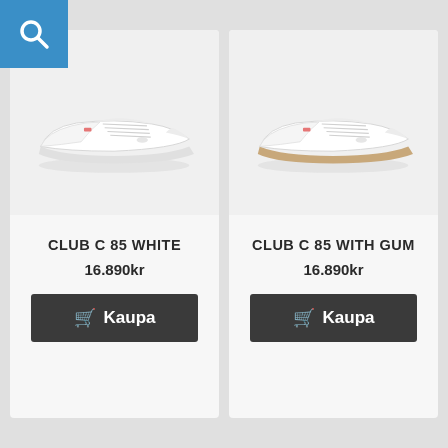[Figure (screenshot): Blue search icon button in top-left corner]
[Figure (photo): Reebok Club C 85 White sneakers, pair viewed from side-front angle on white/light background]
CLUB C 85 WHITE
16.890kr
Kaupa
[Figure (photo): Reebok Club C 85 With Gum sneakers, pair viewed from side-front angle, slightly warm/gum sole visible]
CLUB C 85 WITH GUM
16.890kr
Kaupa